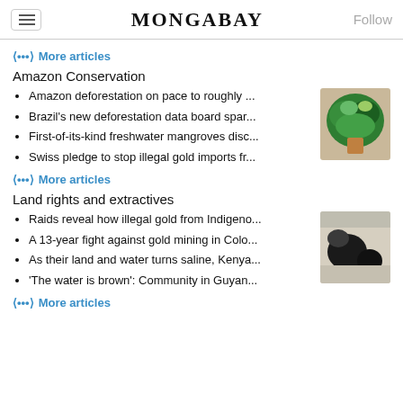MONGABAY | Follow
More articles
Amazon Conservation
Amazon deforestation on pace to roughly ...
Brazil's new deforestation data board spar...
First-of-its-kind freshwater mangroves disc...
Swiss pledge to stop illegal gold imports fr...
[Figure (photo): Aerial view of green forest/vegetation]
More articles
Land rights and extractives
Raids reveal how illegal gold from Indigeno...
A 13-year fight against gold mining in Colo...
As their land and water turns saline, Kenya...
'The water is brown': Community in Guyan...
[Figure (photo): Aerial view of landscape with dark pools/water]
More articles